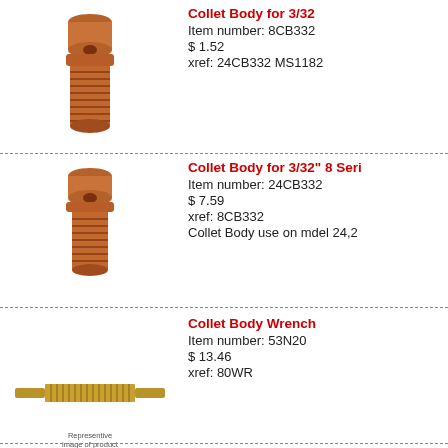[Figure (photo): Copper collet body for 3/32, threaded cylindrical component with hole]
Collet Body for 3/32
Item number: 8CB332
$ 1.52
xref: 24CB332 MS1182
[Figure (photo): Copper collet body for 3/32 8 Series, similar threaded component]
Collet Body for 3/32" 8 Seri
Item number: 24CB332
$ 7.59
xref: 8CB332
Collet Body use on mdel 24,2
[Figure (photo): Brass collet body wrench, elongated cylindrical tool with knurled grip]
Collet Body Wrench
Item number: 53N20
$ 13.46
xref: 80WR
[Figure (photo): Small product image placeholder]
Representive
image of product